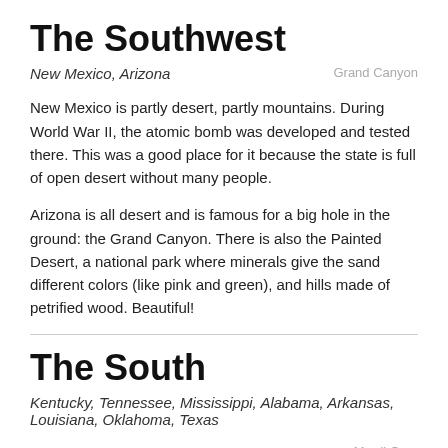The Southwest
New Mexico, Arizona
Grand Canyon
New Mexico is partly desert, partly mountains. During World War II, the atomic bomb was developed and tested there. This was a good place for it because the state is full of open desert without many people.
Arizona is all desert and is famous for a big hole in the ground: the Grand Canyon. There is also the Painted Desert, a national park where minerals give the sand different colors (like pink and green), and hills made of petrified wood. Beautiful!
The South
Kentucky, Tennessee, Mississippi, Alabama, Arkansas, Louisiana, Oklahoma, Texas
Kentucky and Tennessee are both mountainous, and they both have a great musical tradition (Nashville is
Mardi Gras